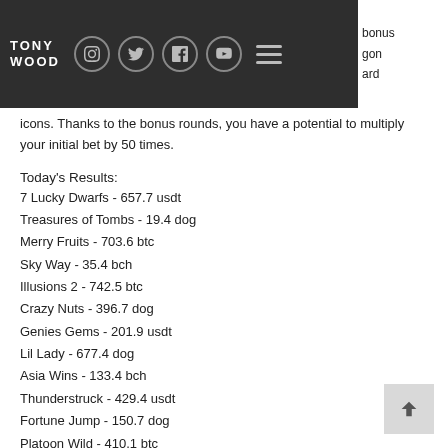TONY WOOD
icons. Thanks to the bonus rounds, you have a potential to multiply your initial bet by 50 times.
Today's Results:
7 Lucky Dwarfs - 657.7 usdt
Treasures of Tombs - 19.4 dog
Merry Fruits - 703.6 btc
Sky Way - 35.4 bch
Illusions 2 - 742.5 btc
Crazy Nuts - 396.7 dog
Genies Gems - 201.9 usdt
Lil Lady - 677.4 dog
Asia Wins - 133.4 bch
Thunderstruck - 429.4 usdt
Fortune Jump - 150.7 dog
Platoon Wild - 410.1 btc
Taco Brothers Saving Christmas - 428 btc
Wild West - 141.2 btc